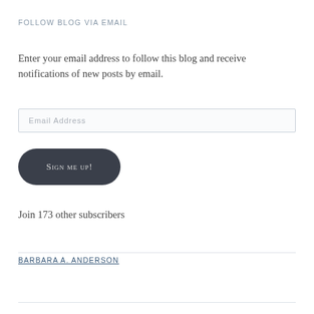FOLLOW BLOG VIA EMAIL
Enter your email address to follow this blog and receive notifications of new posts by email.
Email Address
Sign me up!
Join 173 other subscribers
BARBARA A. ANDERSON